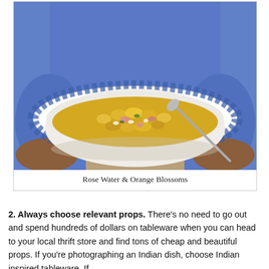[Figure (photo): A person in a blue shirt holding a blue and white floral bowl filled with a corn salad dish with a spoon, photographed from the front. Caption reads 'Rose Water & Orange Blossoms'.]
Rose Water & Orange Blossoms
2. Always choose relevant props. There's no need to go out and spend hundreds of dollars on tableware when you can head to your local thrift store and find tons of cheap and beautiful props. If you're photographing an Indian dish, choose Indian inspired tableware. If